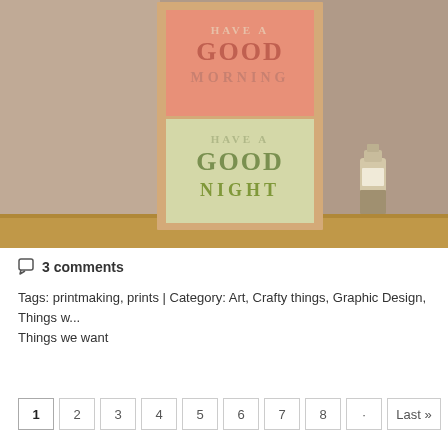[Figure (photo): A framed print on a shelf showing 'Have a Good Morning / Have a Good Night' text art in orange and green sections, with a glass bottle to the right]
💬 3 comments
Tags: printmaking, prints | Category: Art, Crafty things, Graphic Design, Things we want
1 2 3 4 5 6 7 8 · Last »